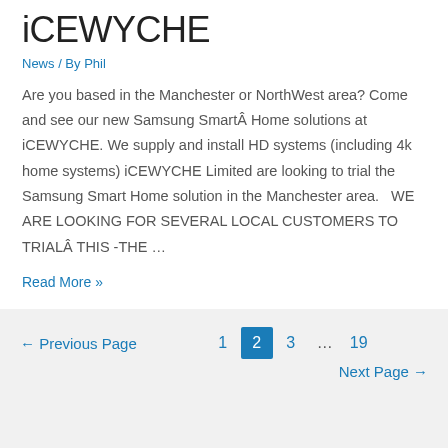iCEWYCHE
News / By Phil
Are you based in the Manchester or NorthWest area? Come and see our new Samsung SmartÂ Home solutions at iCEWYCHE. We supply and install HD systems (including 4k home systems) iCEWYCHE Limited are looking to trial the Samsung Smart Home solution in the Manchester area.   WE ARE LOOKING FOR SEVERAL LOCAL CUSTOMERS TO TRIALÂ THIS -THE …
Read More »
← Previous Page   1  2  3  …  19   Next Page →